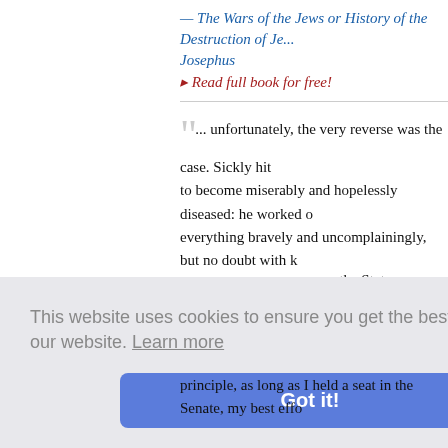— The Wars of the Jews or History of the Destruction of Je... • Josephus
▸ Read full book for free!
" ... unfortunately, the very reverse was the case. Sickly hit to become miserably and hopelessly diseased: he worked o everything bravely and uncomplainingly, but no doubt with k discomfort, and not without detriment at times to the quality disaster adverted to was the failure of a firm with which Hoo entailing severe loss upon him. With his accustomed probity himself of any legal immunities, and resolved to meet his en
— The Poetical Works of Thomas Hood • Thomas Hood
▸ Read full book for free!
n the State es, as well capacity, it the destru credited. A
principle, as long as I held a seat in the Senate, my best effo
This website uses cookies to ensure you get the best experience on our website. Learn more
Got it!